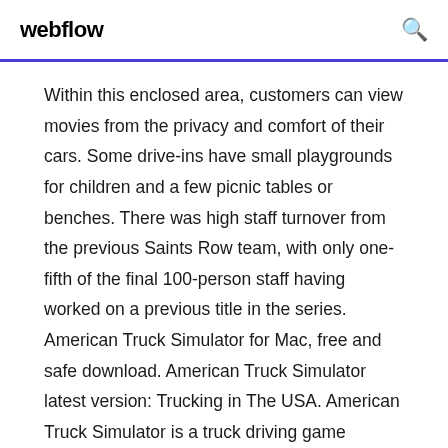webflow
Within this enclosed area, customers can view movies from the privacy and comfort of their cars. Some drive-ins have small playgrounds for children and a few picnic tables or benches. There was high staff turnover from the previous Saints Row team, with only one-fifth of the final 100-person staff having worked on a previous title in the series. American Truck Simulator for Mac, free and safe download. American Truck Simulator latest version: Trucking in The USA. American Truck Simulator is a truck driving game created by SCS Software. The latest draft of the next version of OpenChain Project Specification can be found here: